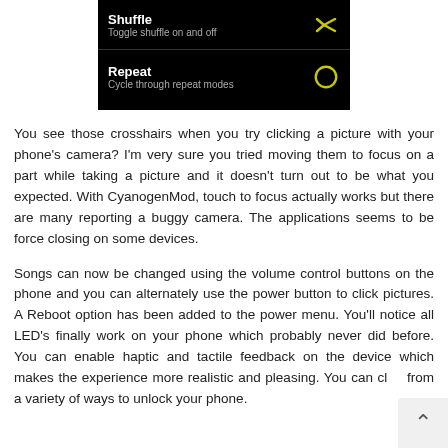[Figure (screenshot): A dark (black background) smartphone UI screenshot showing two menu items: 'Shuffle' with subtitle 'Toggle shuffle on and off' and a yellow X-like icon, and 'Repeat' with subtitle 'Cycle through repeat modes' and a yellow circular repeat icon.]
You see those crosshairs when you try clicking a picture with your phone's camera? I'm very sure you tried moving them to focus on a part while taking a picture and it doesn't turn out to be what you expected. With CyanogenMod, touch to focus actually works but there are many reporting a buggy camera. The applications seems to be force closing on some devices.
Songs can now be changed using the volume control buttons on the phone and you can alternately use the power button to click pictures. A Reboot option has been added to the power menu. You'll notice all LED's finally work on your phone which probably never did before. You can enable haptic and tactile feedback on the device which makes the experience more realistic and pleasing. You can ch from a variety of ways to unlock your phone.